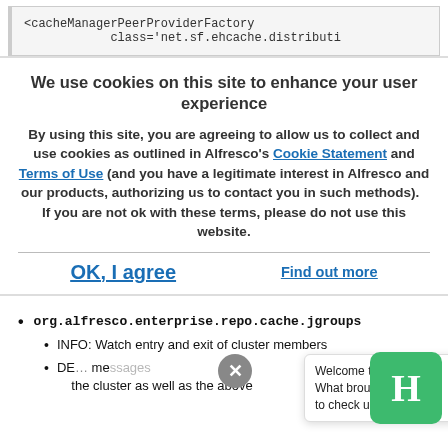[Figure (screenshot): Code block showing XML: <cacheManagerPeerProviderFactory class='net.sf.ehcache.distributi]
We use cookies on this site to enhance your user experience
By using this site, you are agreeing to allow us to collect and use cookies as outlined in Alfresco's Cookie Statement and Terms of Use (and you have a legitimate interest in Alfresco and our products, authorizing us to contact you in such methods).   If you are not ok with these terms, please do not use this website.
OK, I agree    Find out more
org.alfresco.enterprise.repo.cache.jgroups
INFO: Watch entry and exit of cluster members
DE... messages ... in the cluster as well as the above